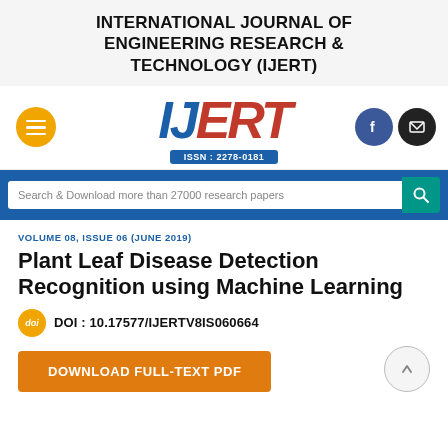INTERNATIONAL JOURNAL OF ENGINEERING RESEARCH & TECHNOLOGY (IJERT)
[Figure (logo): IJERT logo with hamburger menu button (orange circle), IJERT wordmark in blue and red italic letters, ISSN: 2278-0181 blue box, Facebook and email social icons on right]
Search & Download more than 27000 research papers
VOLUME 08, ISSUE 06 (JUNE 2019)
Plant Leaf Disease Detection Recognition using Machine Learning
DOI : 10.17577/IJERTV8IS060664
DOWNLOAD FULL-TEXT PDF